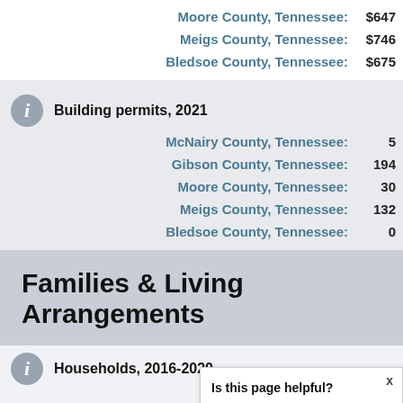Moore County, Tennessee: $647
Meigs County, Tennessee: $746
Bledsoe County, Tennessee: $675
Building permits, 2021
McNairy County, Tennessee: 5
Gibson County, Tennessee: 194
Moore County, Tennessee: 30
Meigs County, Tennessee: 132
Bledsoe County, Tennessee: 0
Families & Living Arrangements
Households, 2016-2020
McNairy County, Tennessee:
Gibson County,